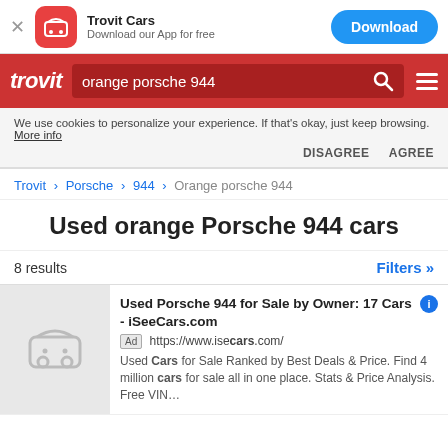[Figure (screenshot): App banner with Trovit Cars logo, 'Download our App for free' text and Download button]
[Figure (screenshot): Trovit red navigation bar with search box showing 'orange porsche 944', search icon, and hamburger menu]
We use cookies to personalize your experience. If that's okay, just keep browsing. More info DISAGREE AGREE
Trovit > Porsche > 944 > Orange porsche 944
Used orange Porsche 944 cars
8 results
Filters »
Used Porsche 944 for Sale by Owner: 17 Cars - iSeeCars.com
Ad https://www.iseecars.com/
Used Cars for Sale Ranked by Best Deals & Price. Find 4 million cars for sale all in one place. Stats & Price Analysis. Free VIN...